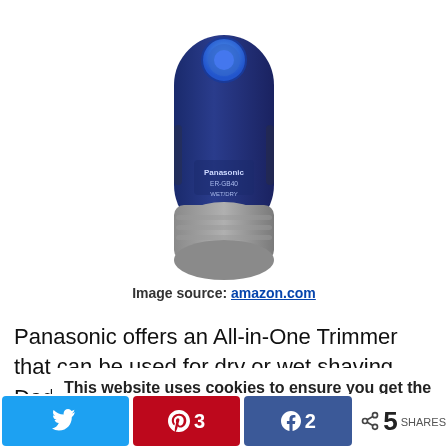[Figure (photo): Product photo of a Panasonic ER-GB40 WET/DRY beard trimmer, navy blue and gray, showing the top view with a blue button at the top and the Panasonic branding on the body.]
Image source: amazon.com
Panasonic offers an All-in-One Trimmer that can be used for dry or wet shaving. Dad will surely lo... be...
This website uses cookies to ensure you get the best experience on our website.  Learn more
Got it!
Twitter share button, Pinterest 3, Facebook 2, Share count 5 SHARES